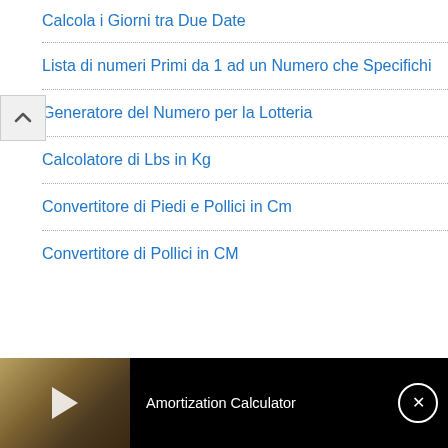Calcola i Giorni tra Due Date
Lista di numeri Primi da 1 ad un Numero che Specifichi
Generatore del Numero per la Lotteria
Calcolatore di Lbs in Kg
Convertitore di Piedi e Pollici in Cm
Convertitore di Pollici in CM
[Figure (screenshot): Video bar at bottom showing Amortization Calculator with thumbnail of calculator papers, play button, title text, and close button]